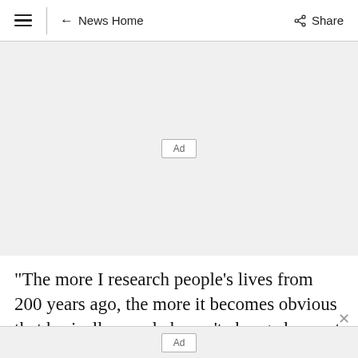≡  ← News Home    Share
[Figure (other): Advertisement placeholder banner with 'Ad' label, light gray background]
"The more I research people's lives from 200 years ago, the more it becomes obvious that basically people haven't changed - apart from
[Figure (other): Advertisement placeholder banner at bottom with 'Ad' label, light gray background]